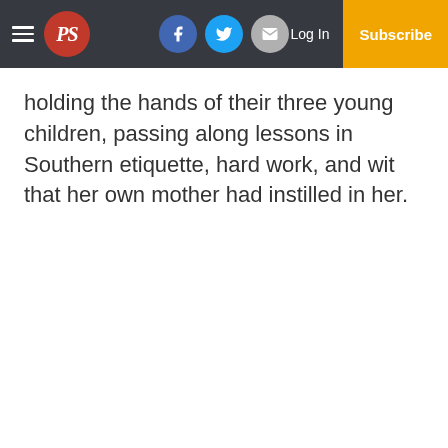PS newspaper navigation bar with logo, social icons, Log In, Subscribe
holding the hands of their three young children, passing along lessons in Southern etiquette, hard work, and wit that her own mother had instilled in her.